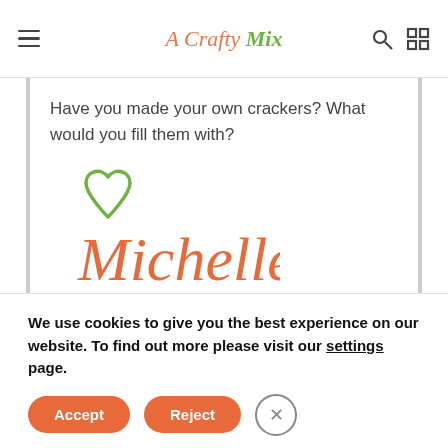A Crafty Mix
Have you made your own crackers? What would you fill them with?
[Figure (illustration): Handwritten cursive signature 'Michelle' in orange with a green heart outline above it]
We use cookies to give you the best experience on our website. To find out more please visit our settings page.
Accept | Reject | Close